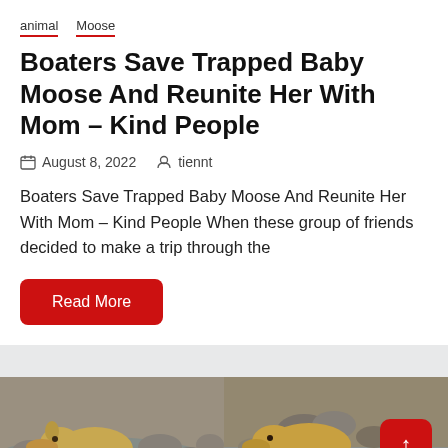animal   Moose
Boaters Save Trapped Baby Moose And Reunite Her With Mom – Kind People
August 8, 2022   tiennt
Boaters Save Trapped Baby Moose And Reunite Her With Mom – Kind People When these group of friends decided to make a trip through the
Read More
[Figure (photo): Two side-by-side video stills showing a young golden-colored dog/moose calf near water and rocks. Right image has a red scroll-to-top button overlay.]